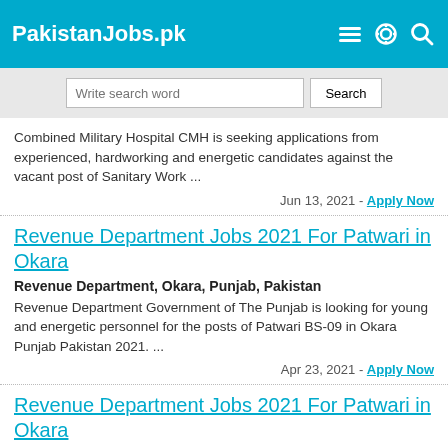PakistanJobs.pk
Write search word
Combined Military Hospital CMH is seeking applications from experienced, hardworking and energetic candidates against the vacant post of Sanitary Work ...
Jun 13, 2021 - Apply Now
Revenue Department Jobs 2021 For Patwari in Okara
Revenue Department, Okara, Punjab, Pakistan
Revenue Department Government of The Punjab is looking for young and energetic personnel for the posts of Patwari BS-09 in Okara Punjab Pakistan 2021. ...
Apr 23, 2021 - Apply Now
Revenue Department Jobs 2021 For Patwari in Okara
Revenue Department, Okara, Punjab, Pakistan
Revenue Department Government of The Punjab is looking for young and energetic personnel for the posts